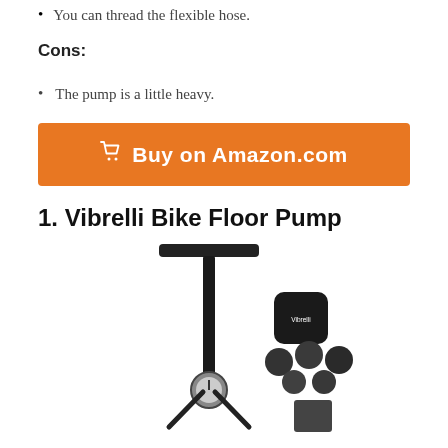You can thread the flexible hose.
Cons:
The pump is a little heavy.
[Figure (other): Orange 'Buy on Amazon.com' button with shopping cart icon]
1. Vibrelli Bike Floor Pump
[Figure (photo): Photo of a black Vibrelli Bike Floor Pump with a handle on top, a gauge at the bottom, and patch kit accessories (patches and a black container with the Vibrelli logo) shown to the right.]